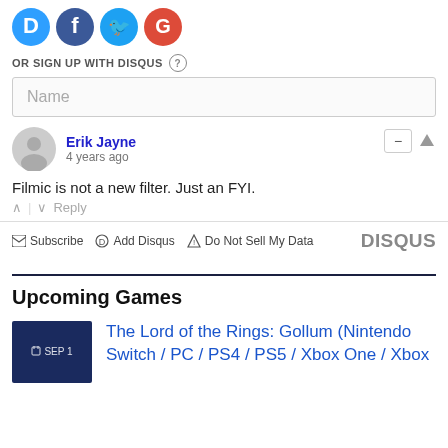[Figure (logo): Four social media icon buttons: Disqus (blue D), Facebook (blue f), Twitter (blue bird), Google (red G)]
OR SIGN UP WITH DISQUS ?
Name
Erik Jayne
4 years ago
Filmic is not a new filter. Just an FYI.
^ | v   Reply
Subscribe  Add Disqus  Do Not Sell My Data   DISQUS
Upcoming Games
SEP 1  The Lord of the Rings: Gollum (Nintendo Switch / PC / PS4 / PS5 / Xbox One / Xbox